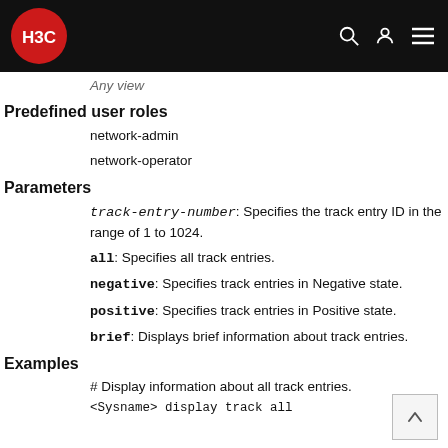H3C
Any view
Predefined user roles
network-admin
network-operator
Parameters
track-entry-number: Specifies the track entry ID in the range of 1 to 1024.
all: Specifies all track entries.
negative: Specifies track entries in Negative state.
positive: Specifies track entries in Positive state.
brief: Displays brief information about track entries.
Examples
# Display information about all track entries.
<Sysname> display track all